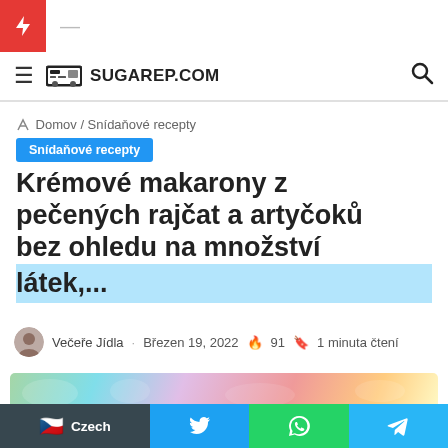SUGAREP.COM
Domov / Snídaňové recepty
Snídaňové recepty
Krémové makarony z pečených rajčat a artyčoků bez ohledu na množství látek,...
Večeře Jídla · Březen 19, 2022 🔥 91 📖 1 minuta čtení
[Figure (photo): Food photo preview thumbnail of pasta dish]
🇨🇿 Czech  (Twitter icon)  (WhatsApp icon)  (Telegram icon)